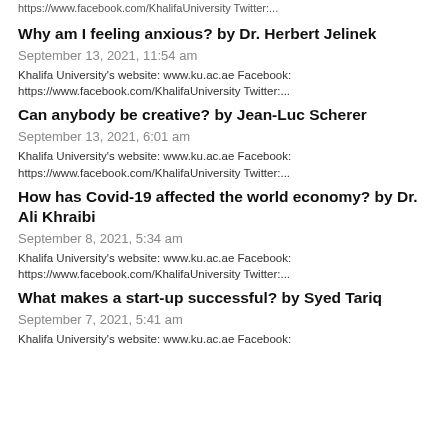https://www.facebook.com/KhalifaUniversity Twitter:...
Why am I feeling anxious? by Dr. Herbert Jelinek
September 13, 2021, 11:54 am
Khalifa University's website: www.ku.ac.ae Facebook: https://www.facebook.com/KhalifaUniversity Twitter:...
Can anybody be creative? by Jean-Luc Scherer
September 13, 2021, 6:01 am
Khalifa University's website: www.ku.ac.ae Facebook: https://www.facebook.com/KhalifaUniversity Twitter:...
How has Covid-19 affected the world economy? by Dr. Ali Khraibi
September 8, 2021, 5:34 am
Khalifa University's website: www.ku.ac.ae Facebook: https://www.facebook.com/KhalifaUniversity Twitter:...
What makes a start-up successful? by Syed Tariq
September 7, 2021, 5:41 am
Khalifa University's website: www.ku.ac.ae Facebook: